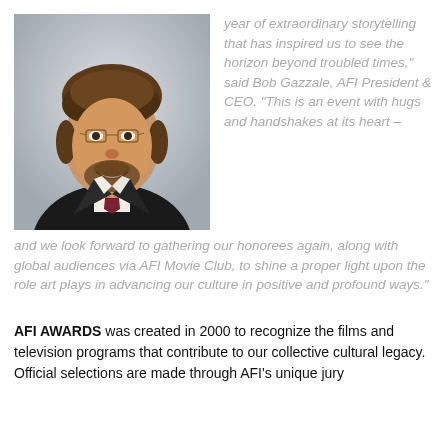[Figure (photo): Headshot of Bob Gazzale, AFI President & CEO, a middle-aged man with curly brown hair and glasses, wearing a dark suit and tie, smiling]
year of extraordinary storytelling that has inspired us to see the horizon beyond troubled times," said Bob Gazzale, AFI President & CEO. "This is an event with hugs and handshakes at its heart – and we look forward to gathering our honorees again, along with global audiences via AFI Movie Club, to shine a proper light upon the role art plays in advancing our culture in positive and profound ways."
AFI AWARDS was created in 2000 to recognize the films and television programs that contribute to our collective cultural legacy. Official selections are made through AFI's unique jury